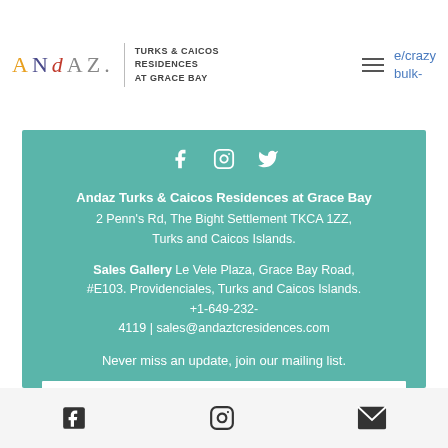[Figure (logo): Andaz Turks & Caicos Residences at Grace Bay logo with hamburger menu and partial URL navigation links]
Andaz Turks & Caicos Residences at Grace Bay
2 Penn's Rd, The Bight Settlement TKCA 1ZZ, Turks and Caicos Islands.
Sales Gallery Le Vele Plaza, Grace Bay Road, #E103. Providenciales, Turks and Caicos Islands. +1-649-232-4119 | sales@andaztcresidences.com
Never miss an update, join our mailing list.
First Name